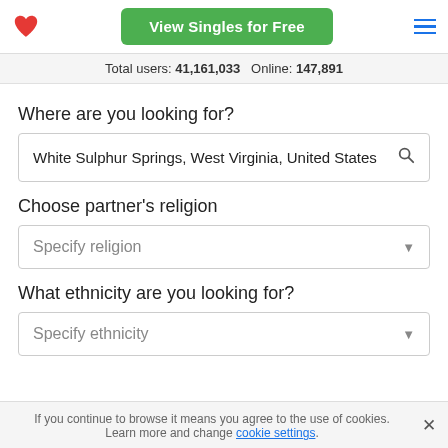View Singles for Free
Total users: 41,161,033   Online: 147,891
Where are you looking for?
White Sulphur Springs, West Virginia, United States
Choose partner’s religion
Specify religion
What ethnicity are you looking for?
Specify ethnicity
If you continue to browse it means you agree to the use of cookies. Learn more and change cookie settings.